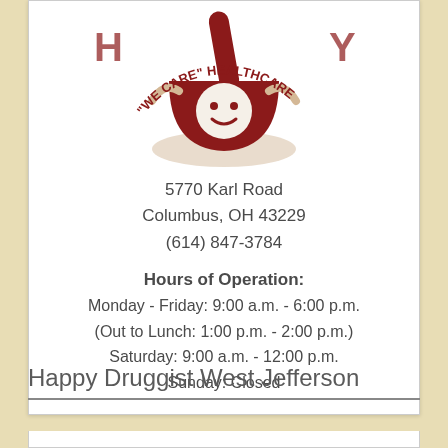[Figure (logo): Happy Druggist 'We Care' Healthcare logo — partial circular logo with red mortar and pestle character and curved text reading 'WE CARE HEALTHCARE']
5770 Karl Road
Columbus, OH 43229
(614) 847-3784
Hours of Operation:
Monday - Friday: 9:00 a.m. - 6:00 p.m.
(Out to Lunch: 1:00 p.m. - 2:00 p.m.)
Saturday: 9:00 a.m. - 12:00 p.m.
Sunday: Closed
Happy Druggist West Jefferson